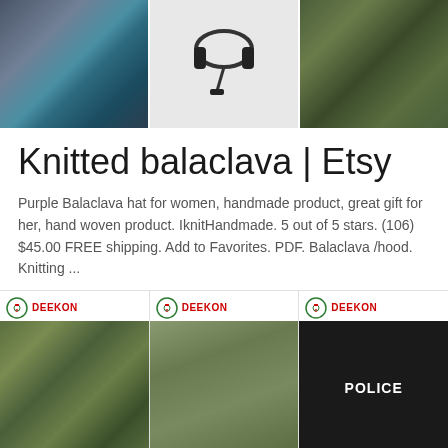[Figure (photo): Three product images in a row: a dark blue/grey suit jacket with ties, a military tactical headset/headphones on white background, and camouflage military uniform/clothing]
Knitted balaclava | Etsy
Purple Balaclava hat for women, handmade product, great gift for her, hand woven product. IknitHandmade. 5 out of 5 stars. (106) $45.00 FREE shipping. Add to Favorites. PDF. Balaclava /hood. Knitting ...
[Figure (photo): Three Deekon-branded product images in a row: camouflage fabric/clothing, a camouflage combat shirt, and a black police cap with POLICE text]
Flickr: All Yersinia's tags